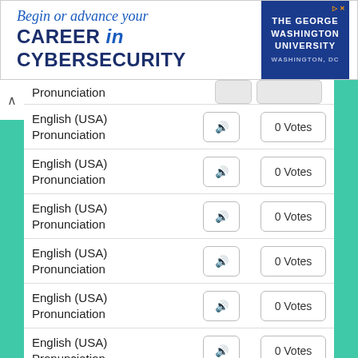[Figure (screenshot): Advertisement banner for The George Washington University: 'Begin or advance your CAREER in CYBERSECURITY', Washington, DC]
| Pronunciation |  |  |
| --- | --- | --- |
| Pronunciation | (audio) | (partial) |
| English (USA) Pronunciation | (audio) | 0 Votes |
| English (USA) Pronunciation | (audio) | 0 Votes |
| English (USA) Pronunciation | (audio) | 0 Votes |
| English (USA) Pronunciation | (audio) | 0 Votes |
| English (USA) Pronunciation | (audio) | 0 Votes |
| English (USA) Pronunciation | (audio) | 0 Votes |
| English (USA) Pronunciation | (audio) | 0 Votes |
| English (USA) Pronunciation | (audio) | 0 Votes |